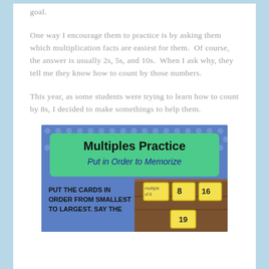goal.
One way I encourage them to practice is by asking them which multiplication facts are easiest for them.  Of course, the answer is usually 2s, 5s, and 10s.  When I ask why, they tell me they know how to count by those numbers.
This year, as some students were trying to learn how to count by 8s, I decided to make somethings to help them.
[Figure (illustration): Multiples Practice educational card activity image showing a blue polka-dot background with a green banner reading 'Multiples Practice Put in Order to Memorize' and instruction text 'PUT THE CARDS IN ORDER FROM SMALLEST TO LARGEST. SAY THE' with yellow flash cards on a wooden surface.]